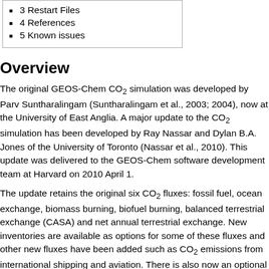3 Restart Files
4 References
5 Known issues
Overview
The original GEOS-Chem CO2 simulation was developed by Parv Suntharalingam (Suntharalingam et al., 2003; 2004), now at the University of East Anglia. A major update to the CO2 simulation has been developed by Ray Nassar and Dylan B.A. Jones of the University of Toronto (Nassar et al., 2010). This update was delivered to the GEOS-Chem software development team at Harvard on 2010 April 1.
The update retains the original six CO2 fluxes: fossil fuel, ocean exchange, biomass burning, biofuel burning, balanced terrestrial exchange (CASA) and net annual terrestrial exchange. New inventories are available as options for some of these fluxes and other new fluxes have been added such as CO2 emissions from international shipping and aviation. There is also now an optional feature to include CO2 production from the oxidation of CO, CH4,